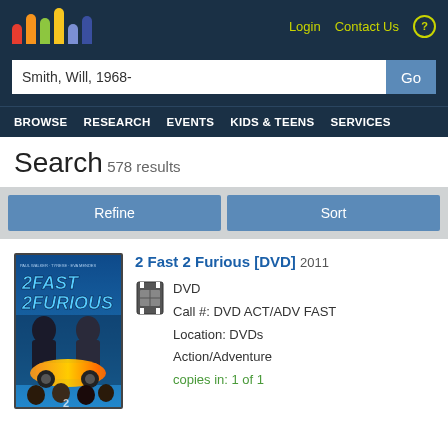Login  Contact Us  ?
Smith, Will, 1968-
BROWSE  RESEARCH  EVENTS  KIDS & TEENS  SERVICES
Search 578 results
Refine  Sort
[Figure (photo): DVD cover of 2 Fast 2 Furious]
2 Fast 2 Furious [DVD] 2011
DVD
Call #: DVD ACT/ADV FAST
Location: DVDs
Action/Adventure
copies in: 1 of 1